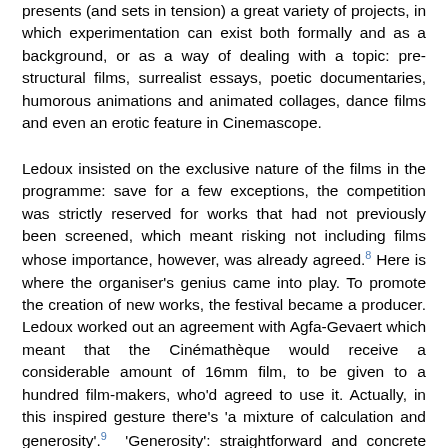presents (and sets in tension) a great variety of projects, in which experimentation can exist both formally and as a background, or as a way of dealing with a topic: pre-structural films, surrealist essays, poetic documentaries, humorous animations and animated collages, dance films and even an erotic feature in Cinemascope.
Ledoux insisted on the exclusive nature of the films in the programme: save for a few exceptions, the competition was strictly reserved for works that had not previously been screened, which meant risking not including films whose importance, however, was already agreed.8 Here is where the organiser's genius came into play. To promote the creation of new works, the festival became a producer. Ledoux worked out an agreement with Agfa-Gevaert which meant that the Cinémathèque would receive a considerable amount of 16mm film, to be given to a hundred film-makers, who'd agreed to use it. Actually, in this inspired gesture there's 'a mixture of calculation and generosity'.9 'Generosity': straightforward and concrete assistance to our film-makers. 'Calculation': he ensured, at the same time, that the